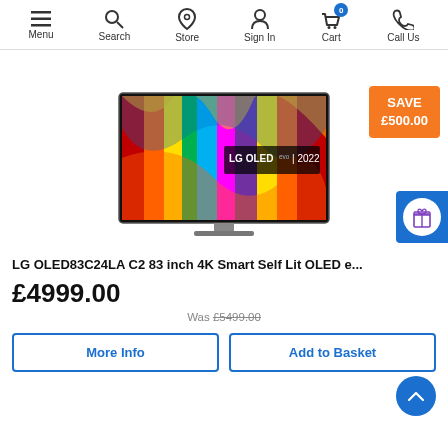Menu | Search | Store | Sign In | Cart 0 | Call Us
[Figure (screenshot): Orange save badge reading SAVE £500.00]
[Figure (photo): LG OLED83C24LA C2 83 inch 4K Smart Self Lit OLED TV product image showing colorful display with LG OLED evo | 2022 logo]
LG OLED83C24LA C2 83 inch 4K Smart Self Lit OLED e...
£4999.00
Was £5499.00
More Info
Add to Basket